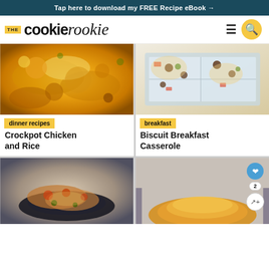Tap here to download my FREE Recipe eBook →
[Figure (logo): The Cookie Rookie logo with hamburger menu and search button]
[Figure (photo): Close-up of cheesy crockpot chicken and rice in a dark skillet]
dinner recipes
Crockpot Chicken and Rice
[Figure (photo): Biscuit breakfast casserole with sausage, peppers, and cheese in a white baking dish viewed from above]
breakfast
Biscuit Breakfast Casserole
[Figure (photo): Stir fry dish in a black bowl with vegetables and sauce]
[Figure (photo): Burger or sandwich on a golden bun, partial view]